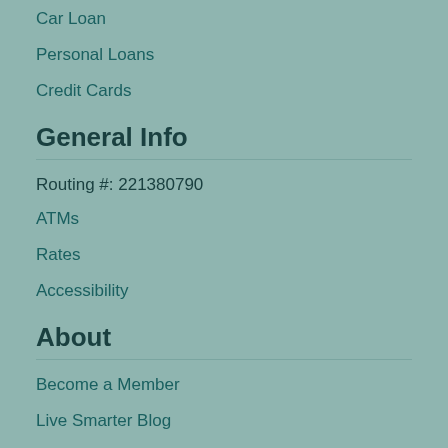Car Loan
Personal Loans
Credit Cards
General Info
Routing #: 221380790
ATMs
Rates
Accessibility
About
Become a Member
Live Smarter Blog
Careers
Privacy
Disclosures
Board/Management